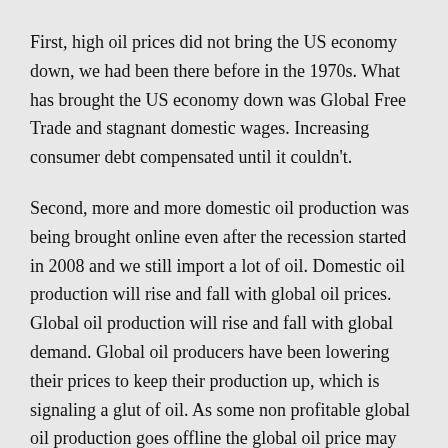First, high oil prices did not bring the US economy down, we had been there before in the 1970s. What has brought the US economy down was Global Free Trade and stagnant domestic wages. Increasing consumer debt compensated until it couldn't.
Second, more and more domestic oil production was being brought online even after the recession started in 2008 and we still import a lot of oil. Domestic oil production will rise and fall with global oil prices. Global oil production will rise and fall with global demand. Global oil producers have been lowering their prices to keep their production up, which is signaling a glut of oil. As some non profitable global oil production goes offline the global oil price may creep back up a little but I see no reason for that price to exceed what it was in early 2014. (Long